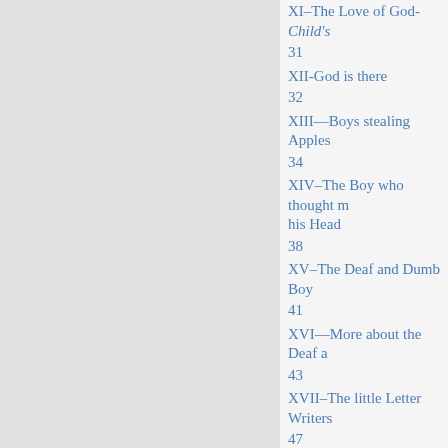XI–The Love of God-Child's
31
XII-God is there
32
XIII—Boys stealing Apples
34
XIV–The Boy who thought m... his Head
38
XV–The Deaf and Dumb Boy
41
XVI—More about the Deaf a...
43
XVII–The little Letter Writers
47
XVIII—More about the Letter
50
XIX–...